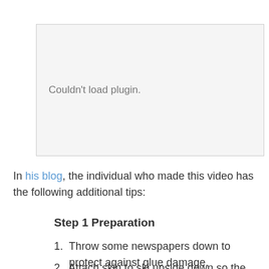[Figure (other): Embedded plugin/video placeholder showing 'Couldn't load plugin.' message]
In his blog, the individual who made this video has the following additional tips:
Step 1 Preparation
1. Throw some newspapers down to protect against glue damage.
2. Attach skin to ski upside down so the